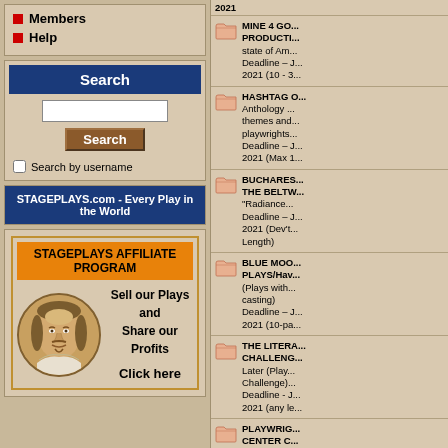Members
Help
Search
Search by username
STAGEPLAYS.com - Every Play in the World
STAGEPLAYS AFFILIATE PROGRAM
Sell our Plays and Share our Profits Click here
2021
MINE 4 GO... PRODUCTI... state of Am... Deadline – J... 2021 (10 - 3...
HASHTAG O... Anthology ... themes and... playwrights... Deadline – J... 2021 (Max 1...
BUCHARES... THE BELTW... "Radiance... Deadline – J... 2021 (Dev't... Length)
BLUE MOO... PLAYS/Hav... (Plays with... casting) Deadline – J... 2021 (10-pa...
THE LITERA... CHALLENG... Later (Play... Challenge)... Deadline - J... 2021 (any le...
PLAYWRIG... CENTER C... PROGRA...